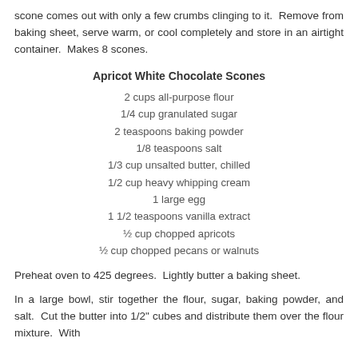scone comes out with only a few crumbs clinging to it.  Remove from baking sheet, serve warm, or cool completely and store in an airtight container.  Makes 8 scones.
Apricot White Chocolate Scones
2 cups all-purpose flour
1/4 cup granulated sugar
2 teaspoons baking powder
1/8 teaspoons salt
1/3 cup unsalted butter, chilled
1/2 cup heavy whipping cream
1 large egg
1 1/2 teaspoons vanilla extract
½ cup chopped apricots
½ cup chopped pecans or walnuts
Preheat oven to 425 degrees.  Lightly butter a baking sheet.
In a large bowl, stir together the flour, sugar, baking powder, and salt.  Cut the butter into 1/2" cubes and distribute them over the flour mixture.  With